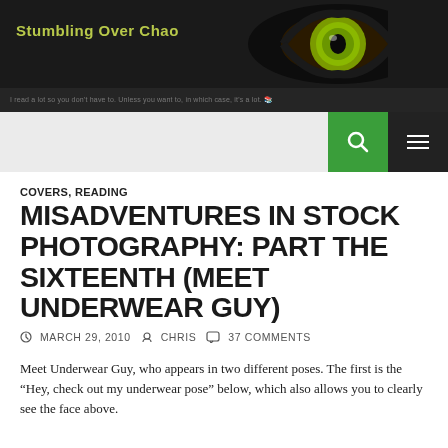Stumbling Over Chaos
I read a lot so you don't have to. Unless you want to, in which case, it's a lot. (Tagline bar text)
COVERS, READING
MISADVENTURES IN STOCK PHOTOGRAPHY: PART THE SIXTEENTH (MEET UNDERWEAR GUY)
MARCH 29, 2010   CHRIS   37 COMMENTS
Meet Underwear Guy, who appears in two different poses. The first is the "Hey, check out my underwear pose" below, which also allows you to clearly see the face above. (text continues)